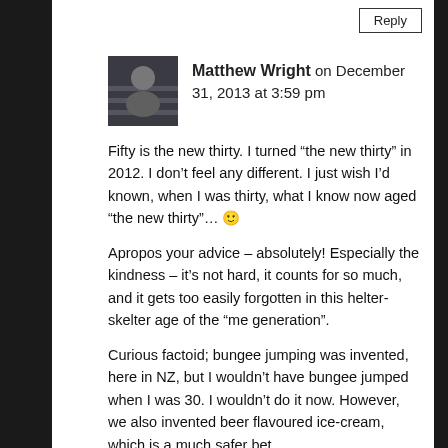[Figure (other): Reply button in top right corner]
[Figure (photo): User avatar photo of Matthew Wright]
Matthew Wright on December 31, 2013 at 3:59 pm
Fifty is the new thirty. I turned “the new thirty” in 2012. I don’t feel any different. I just wish I’d known, when I was thirty, what I know now aged “the new thirty”… 🙂
Apropos your advice – absolutely! Especially the kindness – it’s not hard, it counts for so much, and it gets too easily forgotten in this helter-skelter age of the “me generation”.
Curious factoid; bungee jumping was invented, here in NZ, but I wouldn’t have bungee jumped when I was 30. I wouldn’t do it now. However, we also invented beer flavoured ice-cream, which is a much safer bet.